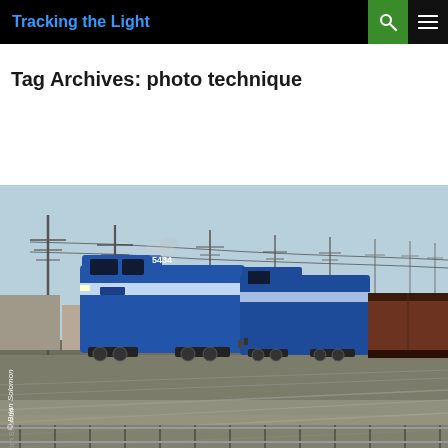Tracking the Light
Tag Archives: photo technique
[Figure (photo): A blue Conrail locomotive numbered 5434 pulling a long freight train with gondola cars through a rail yard. Multiple telegraph/utility poles line the horizon. Photo credited to Brian Solomon. Taken in a flat industrial area with blue sky.]